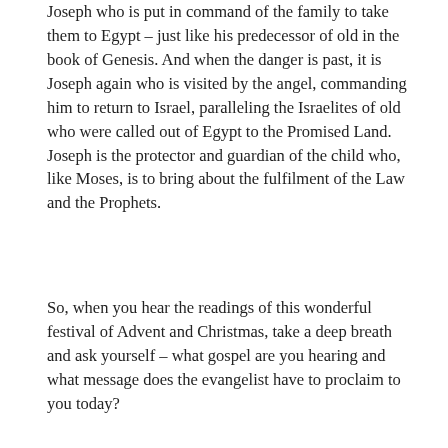Joseph who is put in command of the family to take them to Egypt – just like his predecessor of old in the book of Genesis. And when the danger is past, it is Joseph again who is visited by the angel, commanding him to return to Israel, paralleling the Israelites of old who were called out of Egypt to the Promised Land. Joseph is the protector and guardian of the child who, like Moses, is to bring about the fulfilment of the Law and the Prophets.
So, when you hear the readings of this wonderful festival of Advent and Christmas, take a deep breath and ask yourself – what gospel are you hearing and what message does the evangelist have to proclaim to you today?
Please visit www.twec.org.au.
Follow mnnews.today on Twitter and Instagram.
CATEGORY AURORA
Share this post: